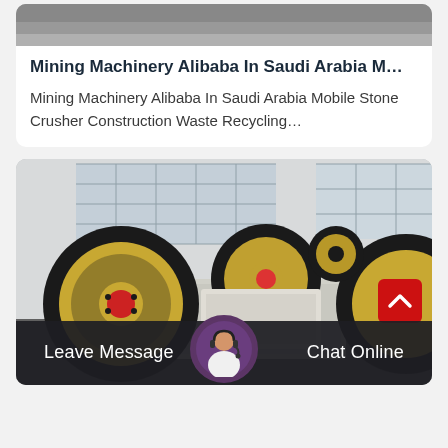[Figure (photo): Top portion of a mining machine image, cropped at top of page]
Mining Machinery Alibaba In Saudi Arabia M…
Mining Machinery Alibaba In Saudi Arabia Mobile Stone Crusher Construction Waste Recycling…
[Figure (photo): Jaw crusher mining machinery with large black and gold wheels with red centers, multiple units lined up outdoors near industrial building]
Leave Message
Chat Online